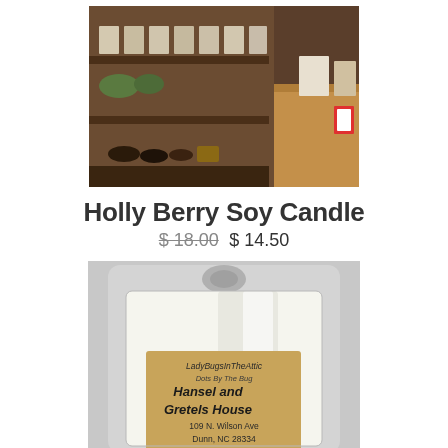[Figure (photo): Interior of a rustic store showing wooden shelves stocked with various small items and products, with a wooden counter visible on the right side.]
Holly Berry Soy Candle
$ 18.00 $ 14.50
[Figure (photo): A soy candle wax melt in clear plastic clamshell packaging. A tan kraft paper label reads: LadyBugsInTheAttic, Dots By The Bug, Hansel and Gretels House, 109 N. Wilson Ave, Dunn, NC 28334]